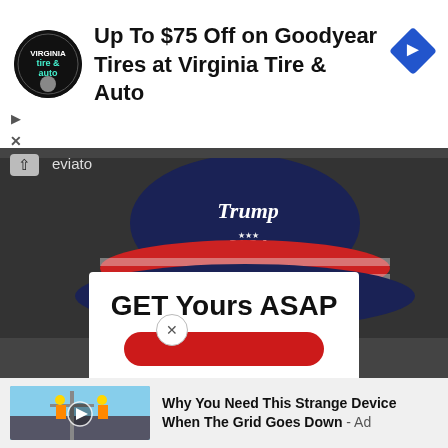[Figure (screenshot): Top advertisement banner for Virginia Tire & Auto showing logo and ad text]
Up To $75 Off on Goodyear Tires at Virginia Tire & Auto
[Figure (photo): Trump 2024 patriotic bucket hat with stars and stripes design]
eviato
GET Yours ASAP
[Figure (screenshot): Bottom advertisement showing utility workers on power poles with video thumbnail and ad text: Why You Need This Strange Device When The Grid Goes Down - Ad]